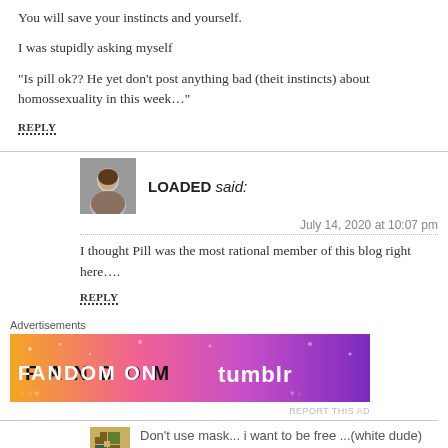You will save your instincts and yourself.
I was stupidly asking myself
“Is pill ok?? He yet don’t post anything bad (theit instincts) about homossexuality in this week…”
REPLY
LOADED said:
July 14, 2020 at 10:07 pm
I thought Pill was the most rational member of this blog right here….
REPLY
Advertisements
[Figure (infographic): FANDOM ON tumblr advertisement banner with orange to purple gradient background and decorative doodles]
REPORT THIS AD
Don’t use mask... i want to be free ...(white dude) said: